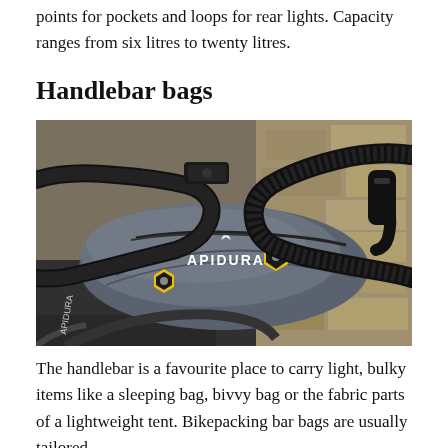points for pockets and loops for rear lights. Capacity ranges from six litres to twenty litres.
Handlebar bags
[Figure (photo): Close-up photo of an Apidura handlebar bag mounted on a bicycle's drop handlebars. The bag is grey with yellow and black hexagonal zipper pulls, branded with 'APIDURA' logo. The bike has black drop bars with black handlebar tape and a gear lever visible on the right.]
The handlebar is a favourite place to carry light, bulky items like a sleeping bag, bivvy bag or the fabric parts of a lightweight tent. Bikepacking bar bags are usually tailored